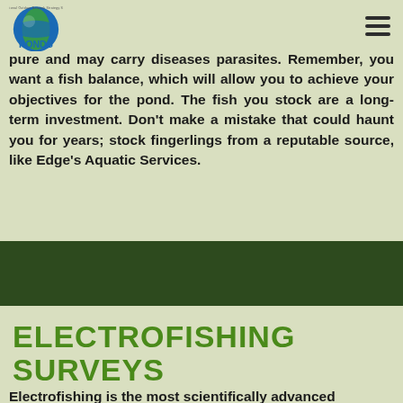PONDS - Professional Outdoor Network Strategy Services
pure and may carry diseases parasites. Remember, you want a fish balance, which will allow you to achieve your objectives for the pond. The fish you stock are a long-term investment. Don't make a mistake that could haunt you for years; stock fingerlings from a reputable source, like Edge's Aquatic Services.
ELECTROFISHING SURVEYS
Electrofishing is the most scientifically advanced